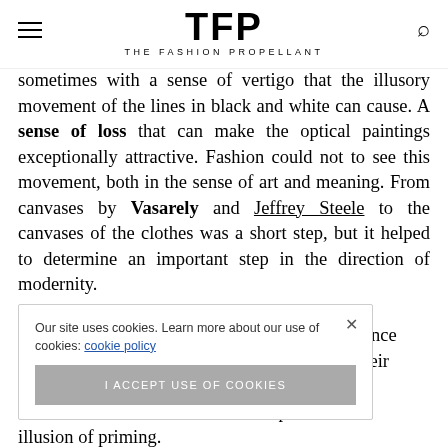TFP THE FASHION PROPELLANT
sometimes with a sense of vertigo that the illusory movement of the lines in black and white can cause. A sense of loss that can make the optical paintings exceptionally attractive. Fashion could not to see this movement, both in the sense of art and meaning. From canvases by Vasarely and Jeffrey Steele to the canvases of the clothes was a short step, but it helped to determine an important step in the direction of modernity. ...the importance ...ansformed their ...P works. In this ...e space to the illusion of priming.
Our site uses cookies. Learn more about our use of cookies: cookie policy
I ACCEPT USE OF COOKIES